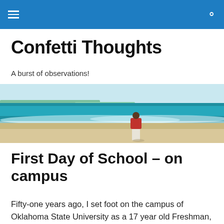Confetti Thoughts
A burst of observations!
[Figure (photo): A person in a red top standing at the shoreline of a beach, waves and teal ocean visible in the background.]
First Day of School – on campus
Fifty-one years ago, I set foot on the campus of Oklahoma State University as a 17 year old Freshman, a very fresh Freshman. At least I had friends who came with me, but it